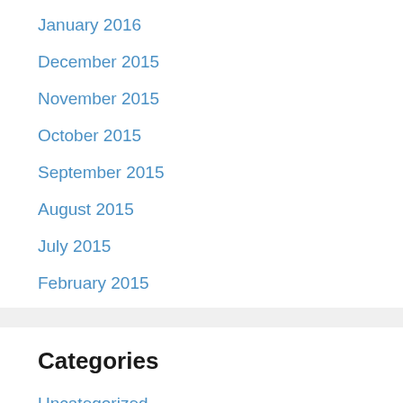January 2016
December 2015
November 2015
October 2015
September 2015
August 2015
July 2015
February 2015
Categories
Uncategorized